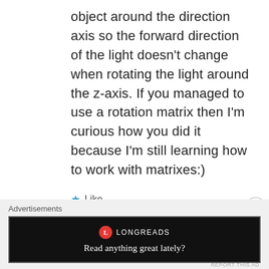object around the direction axis so the forward direction of the light doesn't change when rotating the light around the z-axis. If you managed to use a rotation matrix then I'm curious how you did it because I'm still learning how to work with matrixes:)
★ Like
REPLY
Advertisements
[Figure (other): Longreads advertisement banner with black background, Longreads logo, and tagline 'Read anything great lately?']